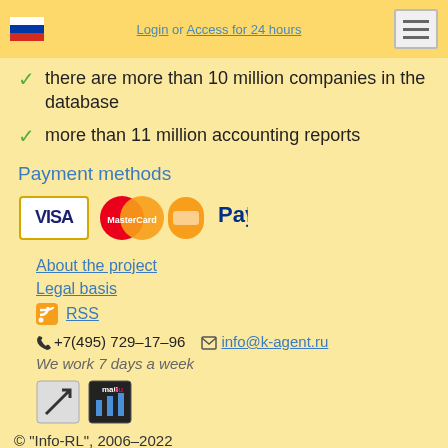Login or Access for 24 hours
there are more than 10 million companies in the database
more than 11 million accounting reports
Payment methods
[Figure (logo): Payment method logos: VISA, MasterCard, orange card icon, PayPal]
About the project
Legal basis
RSS
+7(495) 729-17-96   info@k-agent.ru
We work 7 days a week
[Figure (logo): Two badge icons: a diagonal arrow badge and a mail.ru stats badge]
© "Info-RL", 2006–2022